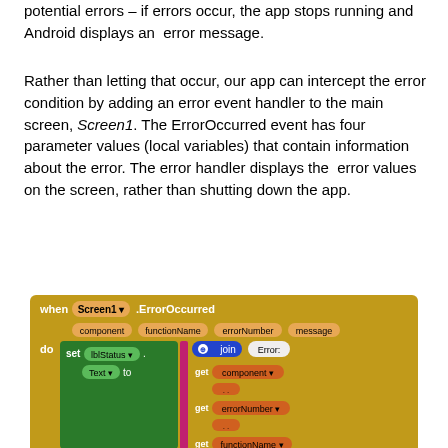potential errors – if errors occur, the app stops running and Android displays an error message.
Rather than letting that occur, our app can intercept the error condition by adding an error event handler to the main screen, Screen1. The ErrorOccurred event has four parameter values (local variables) that contain information about the error. The error handler displays the error values on the screen, rather than shutting down the app.
[Figure (screenshot): App Inventor block coding diagram showing a Screen1.ErrorOccurred event handler. The event has parameters: component, functionName, errorNumber, message. The do block sets lblStatus.Text to a join of 'Error:', get component, '.', get errorNumber, '.', get functionName, '.', get message.]